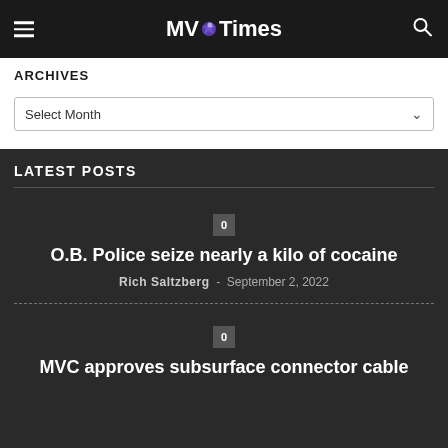MV Times
ARCHIVES
Select Month
LATEST POSTS
0
O.B. Police seize nearly a kilo of cocaine
Rich Saltzberg - September 2, 2022
0
MVC approves subsurface connector cable